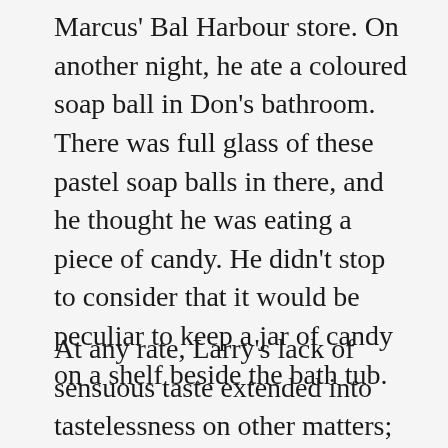Marcus' Bal Harbour store. On another night, he ate a coloured soap ball in Don's bathroom. There was full glass of these pastel soap balls in there, and he thought he was eating a piece of candy. He didn't stop to consider that it would be peculiar to keep a jar of candy on a shelf beside the bath tub.
At any rate, Larry's lack of sensuous taste extended into tastelessness on other matters; in the clothes he wore, in his speech,